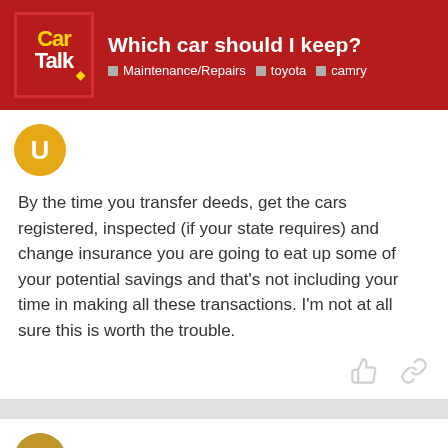Which car should I keep? | Maintenance/Repairs | toyota | camry
By the time you transfer deeds, get the cars registered, inspected (if your state requires) and change insurance you are going to eat up some of your potential savings and that's not including your time in making all these transactions. I'm not at all sure this is worth the trouble.
the_same_mountainbike   May '10
Unless your mom wants to sell you th